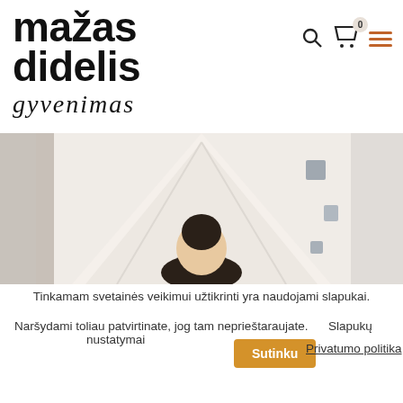[Figure (logo): mažas didelis gyvenimas logo — bold serif text for 'mažas didelis' and italic script for 'gyvenimas']
[Figure (illustration): Navigation icons: search magnifier, shopping cart with badge showing 0, hamburger menu in orange]
[Figure (photo): Hero banner photo of a woman under a white canopy/tent in a nursery room with animal decorations]
Tinkamam svetainės veikimui užtikrinti yra naudojami slapukai.
Naršydami toliau patvirtinate, jog tam neprieštaraujate.      Slapukų nustatymai
Sutinku
Privatumo politika